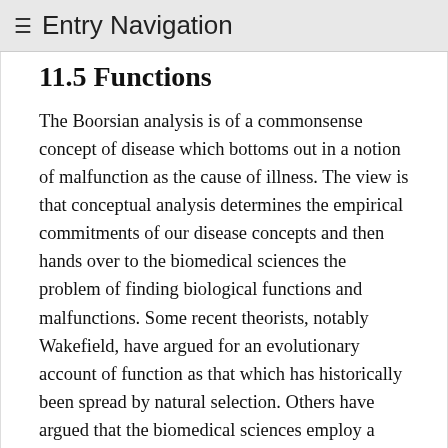≡ Entry Navigation
11.5 Functions
The Boorsian analysis is of a commonsense concept of disease which bottoms out in a notion of malfunction as the cause of illness. The view is that conceptual analysis determines the empirical commitments of our disease concepts and then hands over to the biomedical sciences the problem of finding biological functions and malfunctions. Some recent theorists, notably Wakefield, have argued for an evolutionary account of function as that which has historically been spread by natural selection. Others have argued that the biomedical sciences employ a different conception of function. Besides identifying the right concept of function for the job, other problems affect the whole naturalist community. A reliance on scientific, functional decomposition as the ultimate justification of judgments of health and disease requires a revisionist, rather than a conservative, account. Also, it may not always be possible to settle contested cases by an appeal to a notion of normal human nature, because that notion is itself contested.